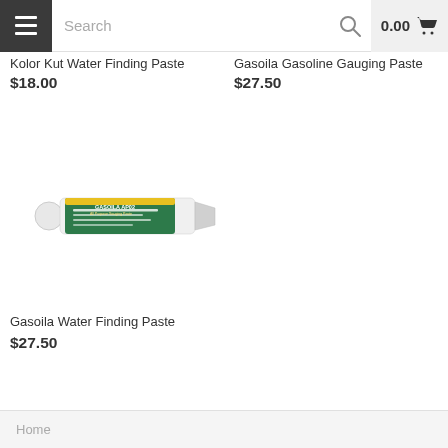Search | 0.00
Kolor Kut Water Finding Paste
$18.00
Gasoila Gasoline Gauging Paste
$27.50
[Figure (photo): A tube of Gasoila AP02 Water Finding Paste product]
Gasoila Water Finding Paste
$27.50
Home